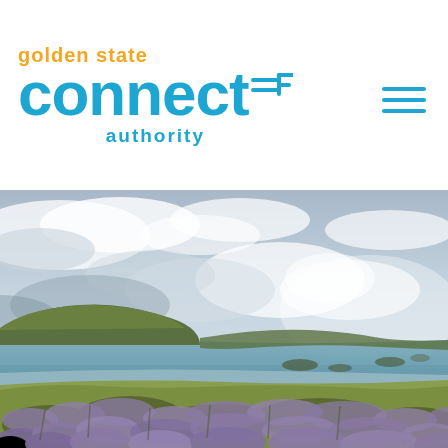[Figure (logo): Golden State Connect Authority logo with blue 'connect' text and orange 'golden state' and blue 'authority' text, with a stylized plug/connector icon]
[Figure (photo): Coastal California landscape with dramatic cloudy sky, green cliffs, ocean water, and purple wildflowers and shrubs in the foreground. Likely Point Reyes or similar Northern California coastal area.]